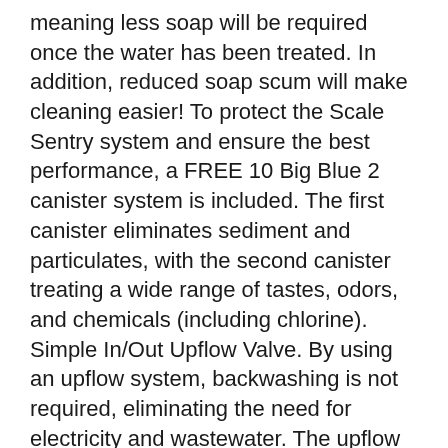meaning less soap will be required once the water has been treated. In addition, reduced soap scum will make cleaning easier! To protect the Scale Sentry system and ensure the best performance, a FREE 10 Big Blue 2 canister system is included. The first canister eliminates sediment and particulates, with the second canister treating a wide range of tastes, odors, and chemicals (including chlorine). Simple In/Out Upflow Valve. By using an upflow system, backwashing is not required, eliminating the need for electricity and wastewater. The upflow valve also has a simple In/Out design to make installation quick and easy. The included bypass valve and 1 MNPT connectors allow for easy connection of the system and provides a quick and easy means to bypass and disconnect the system without needing to cut your plumbing. 1.25 is available. High quality tank includes an advanced Vortech plate, ensuring even flows and peak performance. Design & color may vary from the one shown. We provide detailed installation instructions that allow most homeowners to install this system themselves. All it takes is some basic plumbing skills and some common knowledge! If you don’t feel confident installing it yourself most plumbers can install it in about 1-2 hours. What causes hard water? Hard water is caused by charged calcium and magnesium ions. Since